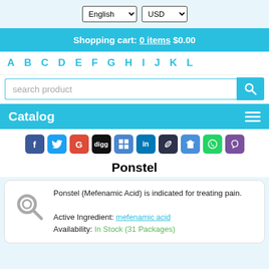English | USD — language and currency selectors
Shopping cart: 0 items $0.00
A B C D E F G H I J K L
search product
Catalog
[Figure (other): Row of social media share icons: Facebook, Twitter, Google+, Digg, Delicious, LinkedIn, Pinterest, Twitter(bird), WhatsApp, Viber]
Ponstel
Ponstel (Mefenamic Acid) is indicated for treating pain.
Active Ingredient: mefenamic acid
Availability: In Stock (31 Packages)